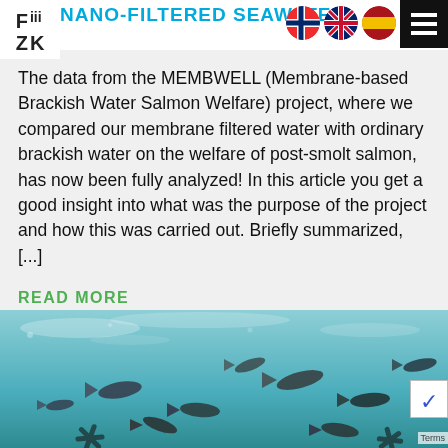NANO-FILTERED SEAWATER:
The data from the MEMBWELL (Membrane-based Brackish Water Salmon Welfare) project, where we compared our membrane filtered water with ordinary brackish water on the welfare of post-smolt salmon, has now been fully analyzed! In this article you get a good insight into what was the purpose of the project and how this was carried out. Briefly summarized, [...]
READ MORE
[Figure (photo): Underwater photo of a school of salmon fish swimming in clear blue-green water in a tank, viewed from above.]